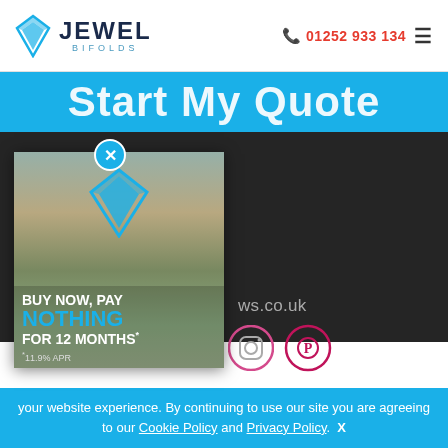Jewel Bifolds — 01252 933 134
Start My Quote
[Figure (photo): Promotional popup ad for Jewel Bifolds showing a conservatory with bifold doors. Text reads: BUY NOW, PAY NOTHING FOR 12 MONTHS* with a diamond logo and *11.9% APR disclaimer. Blue X close button at top.]
ws.co.uk
your website experience. By continuing to use our site you are agreeing to our Cookie Policy and Privacy Policy.  X